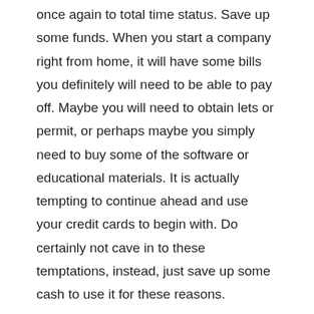once again to total time status. Save up some funds. When you start a company right from home, it will have some bills you definitely will need to be able to pay off. Maybe you will need to obtain lets or permit, or perhaps maybe you simply need to buy some of the software or educational materials. It is actually tempting to continue ahead and use your credit cards to begin with. Do certainly not cave in to these temptations, instead, just save up some cash to use it for these reasons.
Make a marketing approach. Whether you are retailing a very good or program, you wish to produce sure to find the expression out. At this time there are ebooks online that spell out each of the actions must be good with affiliate marketing business applications on the internet, they may be conveniently available and never hard to find. You will